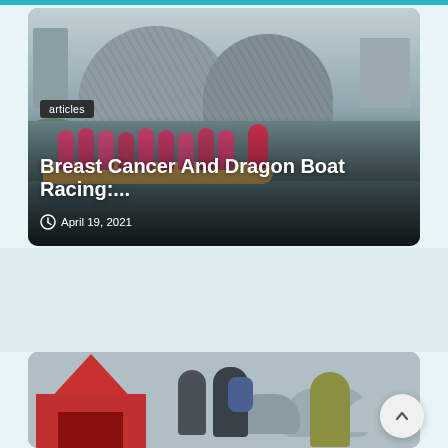[Figure (photo): Article card showing dragon boat racers in pink shirts paddling on water with Singapore Esplanade theatre building in background. Badge reads 'articles'. Title: 'Breast Cancer And Dragon Boat Racing:...' Date: April 19, 2021]
articles
Breast Cancer And Dragon Boat Racing:...
April 19, 2021
[Figure (photo): Second article card showing people near a red tent with rocks in the background, partially visible.]